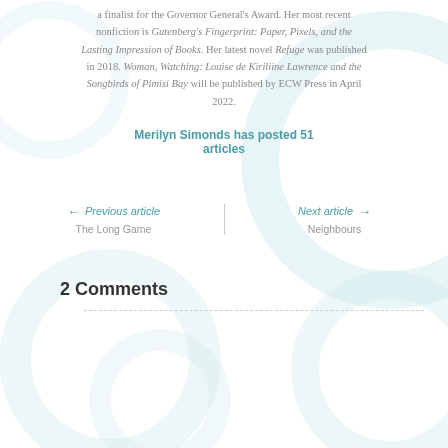a finalist for the Governor General's Award. Her most recent nonfiction is Gutenberg's Fingerprint: Paper, Pixels, and the Lasting Impression of Books. Her latest novel Refuge was published in 2018. Woman, Watching: Louise de Kiriliine Lawrence and the Songbirds of Pimisi Bay will be published by ECW Press in April 2022.
Merilyn Simonds has posted 51 articles
← Previous article
The Long Game
Next article →
Neighbours
2 Comments